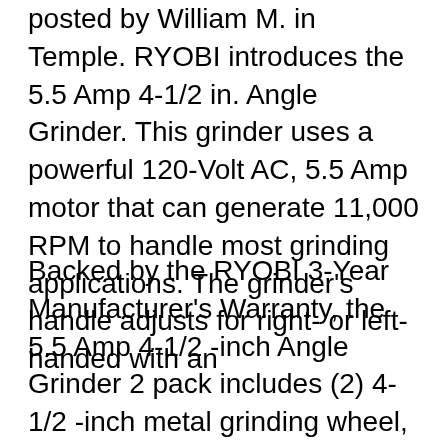posted by William M. in Temple. RYOBI introduces the 5.5 Amp 4-1/2 in. Angle Grinder. This grinder uses a powerful 120-Volt AC, 5.5 Amp motor that can generate 11,000 RPM to handle most grinding applications. The grinder's handle adjusts for right- or left-handed with an
Backed by the RYOBI 3-Year Manufacturer's Warranty, the 5.5 Amp 4-1/2 -inch Angle Grinder 2 pack includes (2) 4-1/2 -inch metal grinding wheel, wheel guard, side handle, disc flange, flange nut, wrench, and an operator's manual. Lightweight design with 3-position handle for left or right-handed use with an additional possible